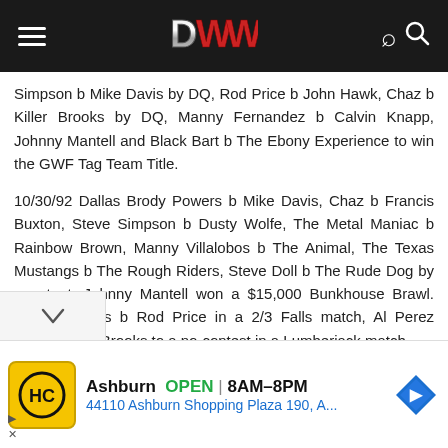DWW navigation header
Simpson b Mike Davis by DQ, Rod Price b John Hawk, Chaz b Killer Brooks by DQ, Manny Fernandez b Calvin Knapp, Johnny Mantell and Black Bart b The Ebony Experience to win the GWF Tag Team Title.
10/30/92 Dallas Brody Powers b Mike Davis, Chaz b Francis Buxton, Steve Simpson b Dusty Wolfe, The Metal Maniac b Rainbow Brown, Manny Villalobos b The Animal, The Texas Mustangs b The Rough Riders, Steve Doll b The Rude Dog by countout, Johnny Mantell won a $15,000 Bunkhouse Brawl. Brody Powers b Rod Price in a 2/3 Falls match, Al Perez battled Killer Brooks to a no-contest in a Lumberjack match.
[Figure (other): Advertisement banner: HC logo, Ashburn OPEN 8AM-8PM, 44110 Ashburn Shopping Plaza 190, A..., navigation arrow icon]